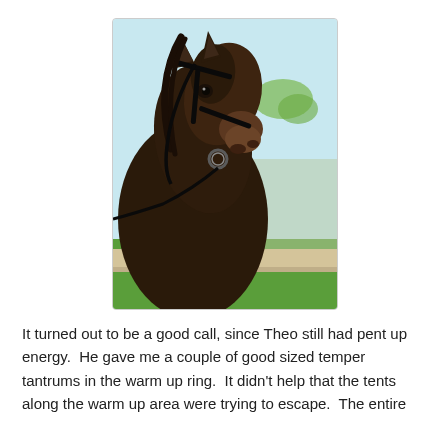[Figure (photo): Close-up photograph of a dark brown/black horse wearing a black bridle, looking toward the camera over a wooden fence rail with chain-link fence and green grass in the background, blue sky visible at top.]
It turned out to be a good call, since Theo still had pent up energy.  He gave me a couple of good sized temper tantrums in the warm up ring.  It didn't help that the tents along the warm up area were trying to escape.  The entire